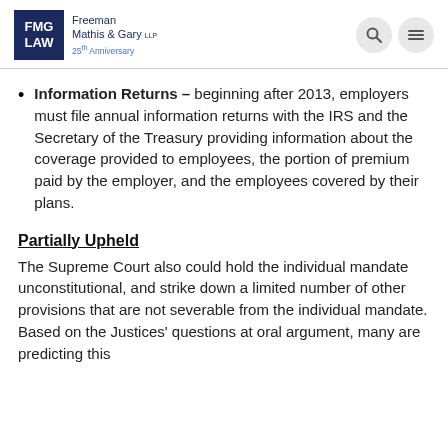FMG LAW – Freeman Mathis & Gary LLP – 25th Anniversary
Information Returns – beginning after 2013, employers must file annual information returns with the IRS and the Secretary of the Treasury providing information about the coverage provided to employees, the portion of premium paid by the employer, and the employees covered by their plans.
Partially Upheld
The Supreme Court also could hold the individual mandate unconstitutional, and strike down a limited number of other provisions that are not severable from the individual mandate. Based on the Justices' questions at oral argument, many are predicting this